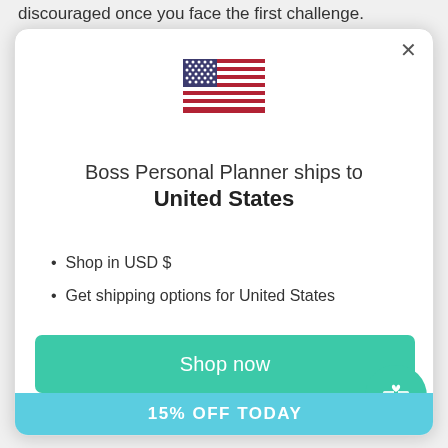discouraged once you face the first challenge.
[Figure (illustration): US flag emoji / icon centered in modal dialog]
Boss Personal Planner ships to United States
Shop in USD $
Get shipping options for United States
Shop now
Change shipping country
15% OFF TODAY